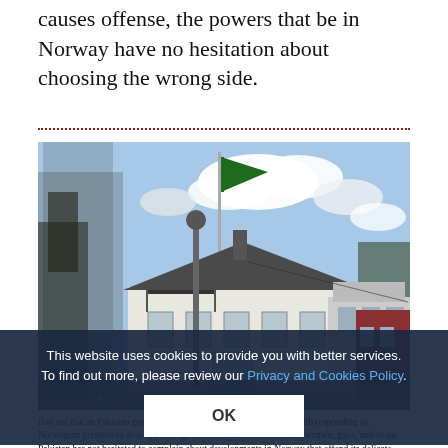causes offense, the powers that be in Norway have no hesitation about choosing the wrong side.
[Figure (photo): A white building with a flagpole flying a green flag (Pakistan embassy), with other residential buildings visible and trees in the background under a partly cloudy sky.]
find out that as Pakistan grows and Ahmadiyya grow in accordance with responding to Norwegian pressure to stop oppressing Ahmadiyya Muslims, Hindus, women, gays, and so on Pakistan has not hesitated to complain about developments in Norway that offend its delicate religious sensitivities. Photo: The Embassy of Pakistan in Oslo
This website uses cookies to provide you with better services. To find out more, please review our Privacy and Cookies Policy.